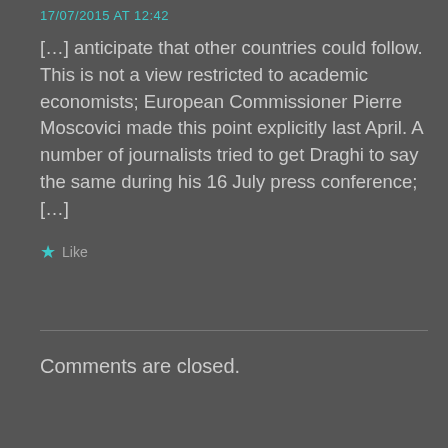17/07/2015 AT 12:42
[…] anticipate that other countries could follow. This is not a view restricted to academic economists; European Commissioner Pierre Moscovici made this point explicitly last April. A number of journalists tried to get Draghi to say the same during his 16 July press conference; […]
★ Like
Comments are closed.